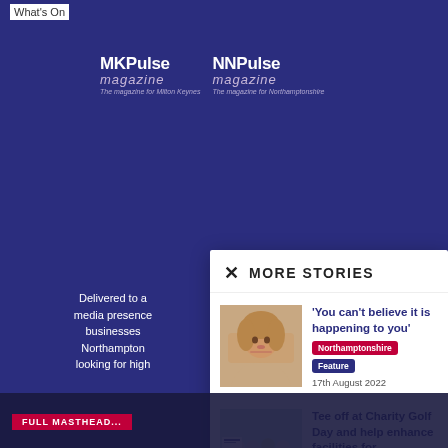What's On
[Figure (logo): MKPulse magazine and NNPulse magazine logos on dark blue background. MKPulse: The magazine for Milton Keynes. NNPulse: The magazine for Northamptonshire.]
Delivered to ... media presence ... businesses ... Northampton... looking for high...
MORE STORIES
[Figure (photo): Close-up photo of a young child's face with blonde hair]
'You can't believe it is happening to you'
Northamptonshire  Feature
17th August 2022
[Figure (photo): Group of young men posing together at a charity golf day event]
Tee off at Charity Golf Day and help enhance facilities for...
Northamptonshire  Sport
17th August 2022